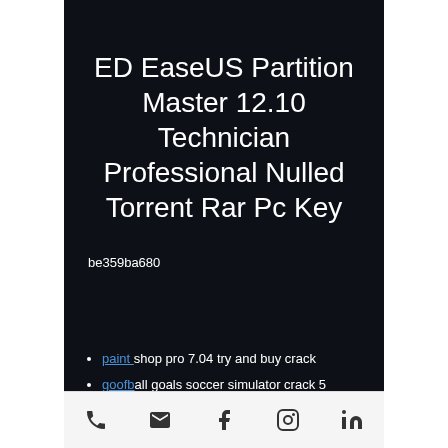ED EaseUS Partition Master 12.10 Technician Professional Nulled Torrent Rar Pc Key
be359ba680
paint shop pro 7.04 try and buy crack
goofball goals soccer simulator crack 5